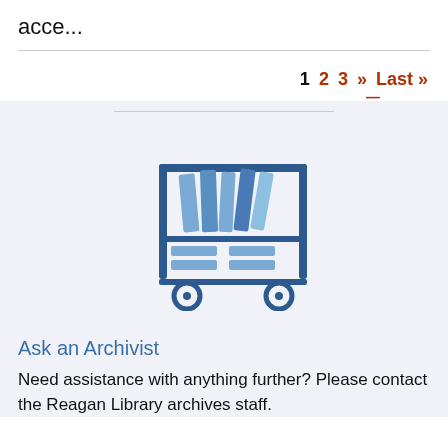acce...
1  2  3  »  Last »
[Figure (illustration): Icon of a library book cart with books stacked on top and shelves with files on the bottom, colored in blue tones on a light gray background.]
Ask an Archivist
Need assistance with anything further? Please contact the Reagan Library archives staff.